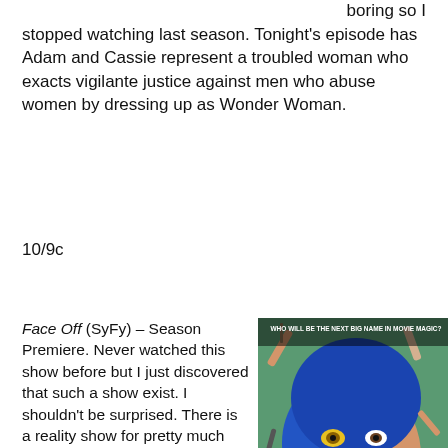boring so I stopped watching last season. Tonight's episode has Adam and Cassie represent a troubled woman who exacts vigilante justice against men who abuse women by dressing up as Wonder Woman.
10/9c
Face Off (SyFy) – Season Premiere. Never watched this show before but I just discovered that such a show exist. I shouldn't be surprised. There is a reality show for pretty much everything. This show has a bunch of prosthetic makeup artists compete to create prosthesis like those found in horror and sci-fi
[Figure (photo): Face Off SyFy show promotional poster showing a woman's face half made up in blue prosthetic makeup with multiple hands applying makeup, with text 'WHO WILL BE THE NEXT BIG NAME IN MOVIE MAGIC?', 'FACE OFF', 'A BATTLE OF IMAGINATION AND TRANSFORMATION', 'Wednesdays 10/9c Premieres Jan 26', 'SyFy']